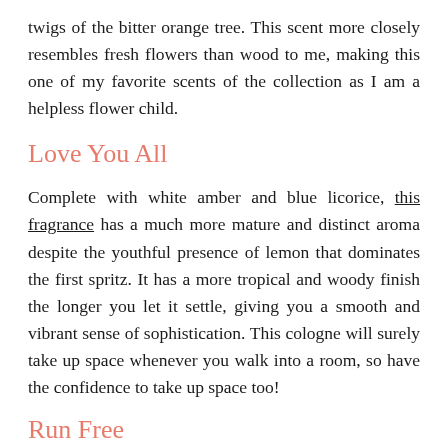twigs of the bitter orange tree. This scent more closely resembles fresh flowers than wood to me, making this one of my favorite scents of the collection as I am a helpless flower child.
Love You All
Complete with white amber and blue licorice, this fragrance has a much more mature and distinct aroma despite the youthful presence of lemon that dominates the first spritz. It has a more tropical and woody finish the longer you let it settle, giving you a smooth and vibrant sense of sophistication. This cologne will surely take up space whenever you walk into a room, so have the confidence to take up space too!
Run Free